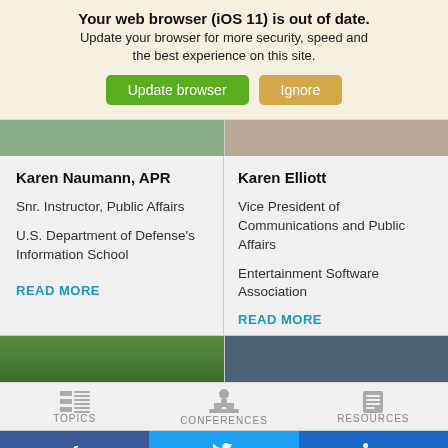Your web browser (iOS 11) is out of date. Update your browser for more security, speed and the best experience on this site. Update browser | Ignore
[Figure (screenshot): Two cropped photos of people, left and right columns]
Karen Naumann, APR
Snr. Instructor, Public Affairs
U.S. Department of Defense's Information School
Karen Elliott
Vice President of Communications and Public Affairs
Entertainment Software Association
READ MORE
READ MORE
[Figure (photo): Two photos at bottom: green/outdoor left, dark teal right]
TOPICS  CONFERENCES  RESOURCES
Facebook  Twitter  LinkedIn